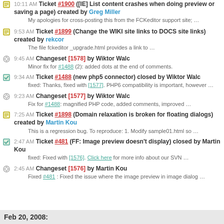10:11 AM Ticket #1900 ([IE] List content crashes when doing preview or saving a page) created by Greg Miller
My apologies for cross-posting this from the FCKeditor support site; …
9:53 AM Ticket #1899 (Change the WIKI site links to DOCS site links) created by rekcor
The file fckeditor_upgrade.html provides a link to …
9:45 AM Changeset [1578] by Wiktor Walc
Minor fix for #1488 (2): added dots at the end of comments.
9:34 AM Ticket #1488 (new php5 connector) closed by Wiktor Walc
fixed: Thanks, fixed with [1577]. PHP6 compatibility is important, however …
9:23 AM Changeset [1577] by Wiktor Walc
Fix for #1488: magnified PHP code, added comments, improved …
7:25 AM Ticket #1898 (Domain relaxation is broken for floating dialogs) created by Martin Kou
This is a regression bug. To reproduce: 1. Modify sample01.html so …
2:47 AM Ticket #481 (FF: Image preview doesn't display) closed by Martin Kou
fixed: Fixed with [1576]. Click here for more info about our SVN …
2:45 AM Changeset [1576] by Martin Kou
Fixed #481 : Fixed the issue where the image preview in image dialog …
Feb 20, 2008: